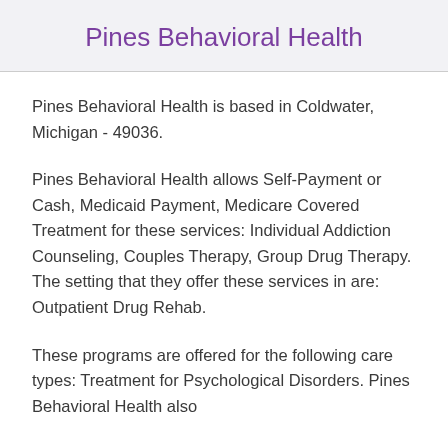Pines Behavioral Health
Pines Behavioral Health is based in Coldwater, Michigan - 49036.
Pines Behavioral Health allows Self-Payment or Cash, Medicaid Payment, Medicare Covered Treatment for these services: Individual Addiction Counseling, Couples Therapy, Group Drug Therapy. The setting that they offer these services in are: Outpatient Drug Rehab.
These programs are offered for the following care types: Treatment for Psychological Disorders. Pines Behavioral Health also